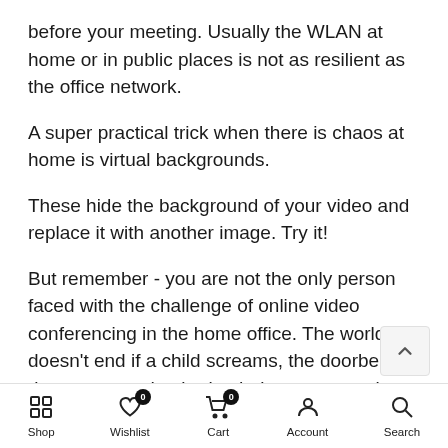before your meeting. Usually the WLAN at home or in public places is not as resilient as the office network.
A super practical trick when there is chaos at home is virtual backgrounds.
These hide the background of your video and replace it with another image. Try it!
But remember - you are not the only person faced with the challenge of online video conferencing in the home office. The world doesn't end if a child screams, the doorbell rings, or your dog barks during your meeting.
Shop  Wishlist  Cart  Account  Search